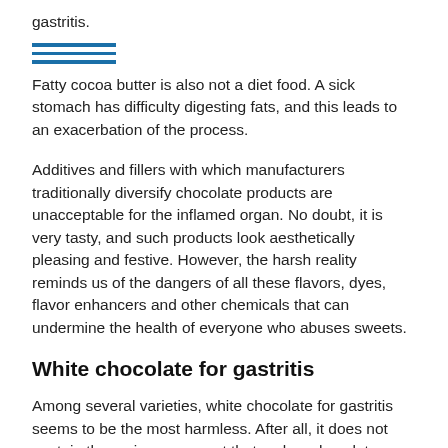gastritis.
Fatty cocoa butter is also not a diet food. A sick stomach has difficulty digesting fats, and this leads to an exacerbation of the process.
Additives and fillers with which manufacturers traditionally diversify chocolate products are unacceptable for the inflamed organ. No doubt, it is very tasty, and such products look aesthetically pleasing and festive. However, the harsh reality reminds us of the dangers of all these flavors, dyes, flavor enhancers and other chemicals that can undermine the health of everyone who abuses sweets.
White chocolate for gastritis
Among several varieties, white chocolate for gastritis seems to be the most harmless. After all, it does not contain the main component that makes chocolate actually chocolate, and not just one of the sweet desserts. White